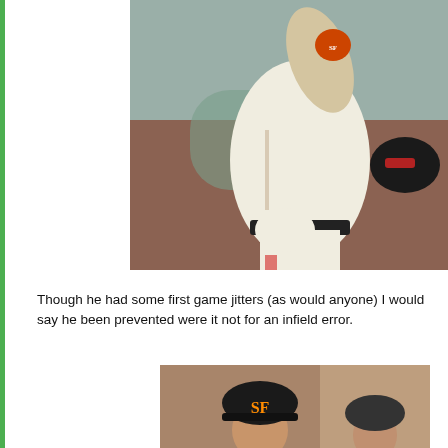[Figure (photo): A baseball pitcher in a San Francisco Giants white uniform mid-windup, wearing a black glove with red accents, Giants logo patch visible on sleeve. Background is blurred green and brown tones suggesting a stadium.]
Though he had some first game jitters (as would anyone) I would say he been prevented were it not for an infield error.
[Figure (photo): A San Francisco Giants player wearing a black SF Giants cap with the SF logo, partially visible against a blurred background.]